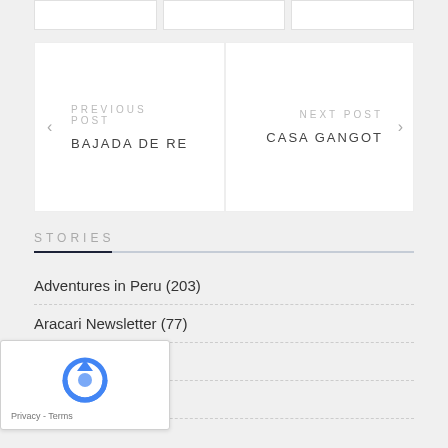PREVIOUS POST BAJADA DE RE
NEXT POST CASA GANGOT
STORIES
Adventures in Peru (203)
Aracari Newsletter (77)
Review (17)
Team Insights (334)